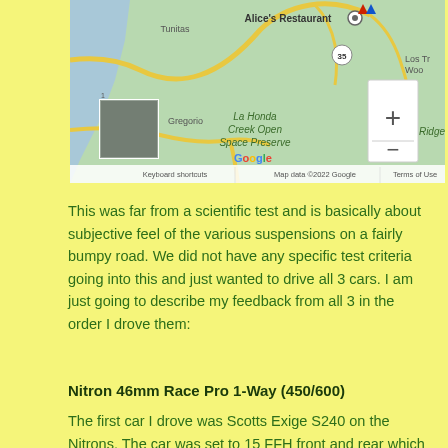[Figure (map): Google Maps screenshot showing area around Alice's Restaurant near La Honda, CA. Shows La Honda Creek Open Space Preserve, Russian Ridge, Tunitas, San Gregorio areas. Map controls with + and - zoom buttons visible. Attribution: Keyboard shortcuts | Map data ©2022 Google | Terms of Use]
This was far from a scientific test and is basically about subjective feel of the various suspensions on a fairly bumpy road. We did not have any specific test criteria going into this and just wanted to drive all 3 cars. I am just going to describe my feedback from all 3 in the order I drove them:
Nitron 46mm Race Pro 1-Way (450/600)
The first car I drove was Scotts Exige S240 on the Nitrons. The car was set to 15 FFH front and rear which is